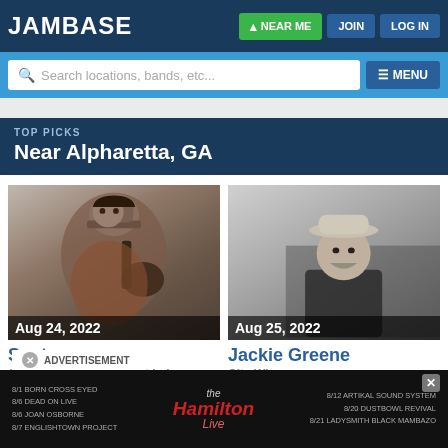JamBase | NEAR ME | JOIN | LOG IN
Search locations, bands, etc... | MENU
TOP PICKS
Near Alpharetta, GA
[Figure (photo): Photo of Santana musician holding guitar, wearing a hat and ornate jacket, on card dated Aug 24, 2022, with venue Cellairis Amphitheatre at Lakewood, Atlanta, GA]
Aug 24, 2022
Santana
Cellairis Amphitheatre at Lak...
Atl...
[Figure (photo): Black and white photo of Jackie Greene musician in hat, on card dated Aug 25, 2022, with venue City Winery]
Aug 25, 2022
Jackie Greene
City Winery
ADVERTISEMENT
8/1 BORN CROSS EYED
8/6 DEAD ON LIVE
8/6 JOAN OSBORNE
8/7 ENGLISHTOWN PROJECT
The Hamilton Live
8/12 ARTIKAL SOUND SYSTEM
8/20 DUSTBOWL REVIVAL
8/21 LADYSMITH BLACK MAMBAZO
INFO